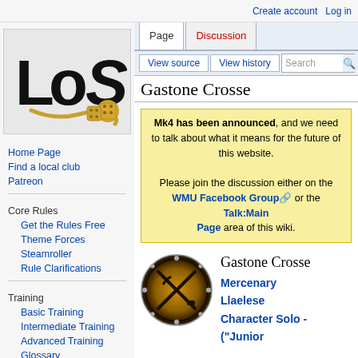Create account   Log in
[Figure (logo): LoS logo with dice and snake]
Home Page
Find a local club
Patreon
Core Rules
Get the Rules Free
Theme Forces
Steamroller
Rule Clarifications
Training
Basic Training
Intermediate Training
Advanced Training
Glossary
Gastone Crosse
Mk4 has been announced, and we need to talk about what it means for the future of this website.

Please join the discussion either on the WMU Facebook Group or the Talk:Main Page area of this wiki.
[Figure (illustration): Gastone Crosse character icon - circular golden emblem with crossed pistol and sword silhouette]
Gastone Crosse
Mercenary
Llaelese
Character Solo -
("Junior